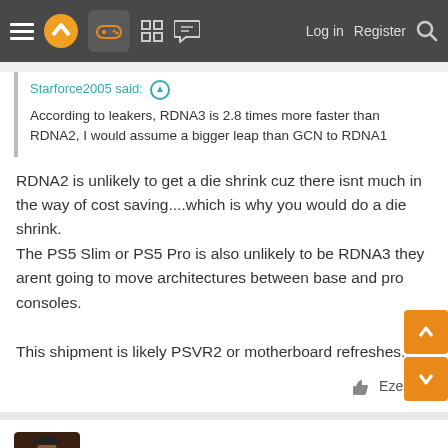Navigation bar with menu, logo, gamepad icon, grid icon, chat icon, Log in, Register, Search
Starforce2005 said: ↑
According to leakers, RDNA3 is 2.8 times more faster than RDNA2, I would assume a bigger leap than GCN to RDNA1
RDNA2 is unlikely to get a die shrink cuz there isnt much in the way of cost saving....which is why you would do a die shrink.
The PS5 Slim or PS5 Pro is also unlikely to be RDNA3 they arent going to move architectures between base and pro consoles.

This shipment is likely PSVR2 or motherboard refreshes.
👍 Ezekiel_
Sosokrates
Member